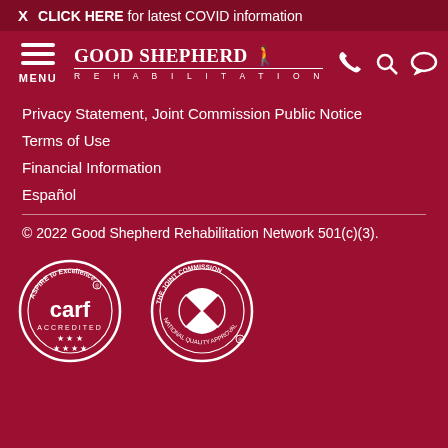X  CLICK HERE for latest COVID information
[Figure (logo): Good Shepherd Rehabilitation logo with hamburger menu and navigation icons (phone, search, chat)]
Privacy Statement, Joint Commission Public Notice
Terms of Use
Financial Information
Español
© 2022 Good Shepherd Rehabilitation Network 501(c)(3).
[Figure (logo): CARF Accredited - ASPIRE to Excellence circular badge with stars]
[Figure (logo): The Joint Commission National Quality Approval circular badge]